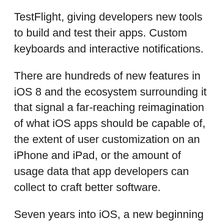TestFlight, giving developers new tools to build and test their apps. Custom keyboards and interactive notifications.
There are hundreds of new features in iOS 8 and the ecosystem surrounding it that signal a far-reaching reimagination of what iOS apps should be capable of, the extent of user customization on an iPhone and iPad, or the amount of usage data that app developers can collect to craft better software.
Seven years into iOS, a new beginning is afoot for Apple's mobile OS, and, months from now, there will still be plenty to discuss. But, today, I want to elaborate on my experience with iOS 8 in a story that can be summed up with: